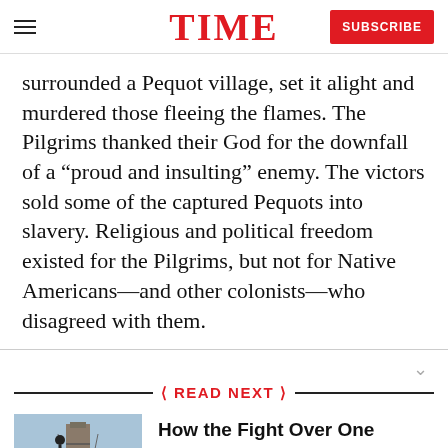TIME | SUBSCRIBE
surrounded a Pequot village, set it alight and murdered those fleeing the flames. The Pilgrims thanked their God for the downfall of a “proud and insulting” enemy. The victors sold some of the captured Pequots into slavery. Religious and political freedom existed for the Pilgrims, but not for Native Americans—and other colonists—who disagreed with them.
READ NEXT
How the Fight Over One Monument Shows the Power of the Past
[Figure (photo): Image of a person or figure on a monument, outdoor daytime shot, tower/column structure visible]